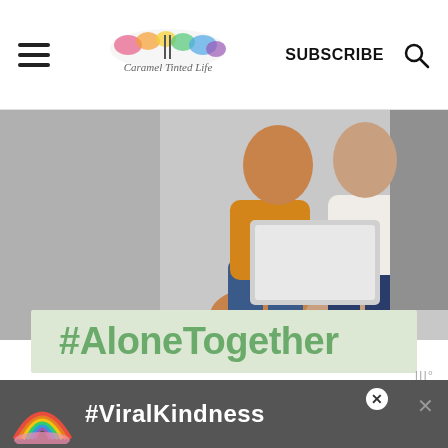Caramel Tinted Life — SUBSCRIBE
[Figure (photo): Two people sitting on the floor sharing a laptop, viewed from above, one in yellow outfit, one in white shirt and jeans]
#AloneTogether
If you liked this recipe, do comment below and rate the recipe! If you make this recipe, please post a pic on INSTAGRAM -tagging
[Figure (infographic): #ViralKindness advertisement banner with rainbow illustration at bottom of page]